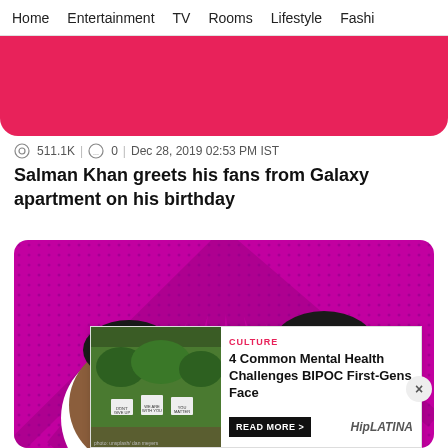Home   Entertainment   TV   Rooms   Lifestyle   Fashi
[Figure (other): Pink/red banner with rounded bottom corners]
511.1K  |  0  |  Dec 28, 2019 02:53 PM IST
Salman Khan greets his fans from Galaxy apartment on his birthday
[Figure (photo): Magenta dotted background with starburst rays and two faces partially visible, overlaid with an advertisement popup for '4 Common Mental Health Challenges BIPOC First-Gens Face' from CULTURE / HipLATINA]